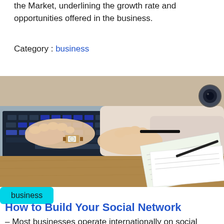the Market, underlining the growth rate and opportunities offered in the business.
Category : business
[Figure (photo): Person wearing a watch typing on a laptop keyboard, with papers and a pen on a wooden desk in the background.]
business
How to Build Your Social Network
- Most businesses operate internationally on social